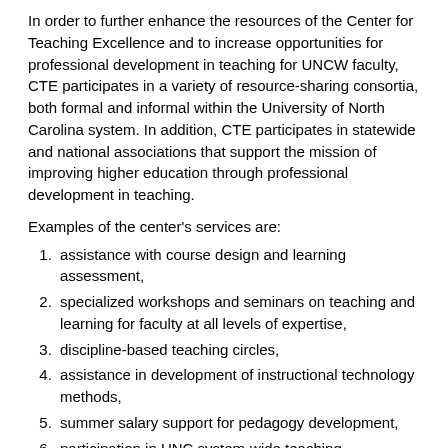In order to further enhance the resources of the Center for Teaching Excellence and to increase opportunities for professional development in teaching for UNCW faculty, CTE participates in a variety of resource-sharing consortia, both formal and informal within the University of North Carolina system. In addition, CTE participates in statewide and national associations that support the mission of improving higher education through professional development in teaching.
Examples of the center's services are:
assistance with course design and learning assessment,
specialized workshops and seminars on teaching and learning for faculty at all levels of expertise,
discipline-based teaching circles,
assistance in development of instructional technology methods,
summer salary support for pedagogy development,
participation in UNC system-wide teaching development incentives,
publication of a world wide web page at www.uncw.edu/cte/.
The mission of the center is specifically supportive, and participation by the faculty is entirely voluntary. The interaction